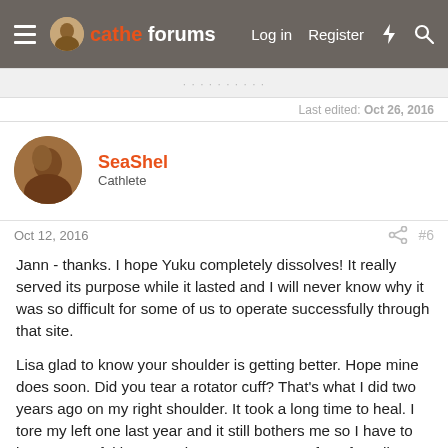cathe forums — Log in   Register
Last edited: Oct 26, 2016
SeaShel
Cathlete
Oct 12, 2016   #6
Jann - thanks. I hope Yuku completely dissolves! It really served its purpose while it lasted and I will never know why it was so difficult for some of us to operate successfully through that site.

Lisa glad to know your shoulder is getting better. Hope mine does soon. Did you tear a rotator cuff? That's what I did two years ago on my right shoulder. It took a long time to heal. I tore my left one last year and it still bothers me so I have to be very careful in my workouts. I am more a fan of cardio than weights so I am struggling to like the weight work I am doing now.